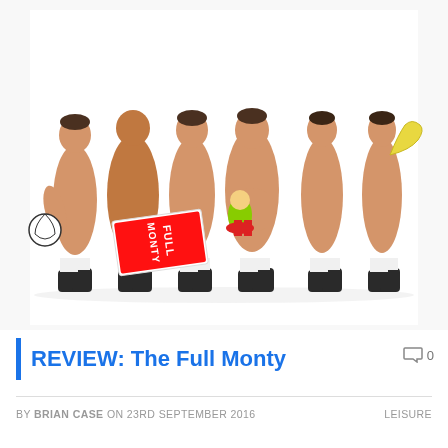[Figure (photo): Six men posing nude (strategically covered) against a white background, wearing only black boots and white socks. The leftmost man holds a football, two men in the middle hold a 'Full Monty' sign, and another holds a colorful Teletubbies toy. The rightmost man holds what appears to be a brass instrument. Promotional image for The Full Monty stage show.]
REVIEW: The Full Monty
0
BY BRIAN CASE ON 23RD SEPTEMBER 2016
LEISURE